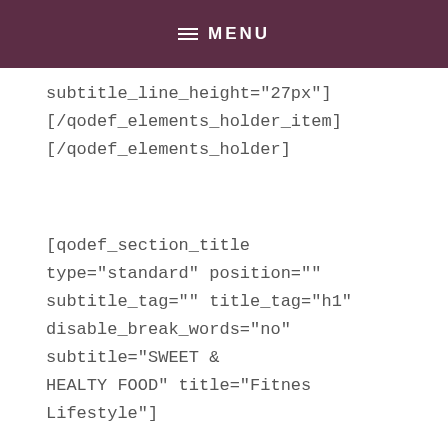≡ MENU
subtitle_line_height="27px"]
[/qodef_elements_holder_item]
[/qodef_elements_holder]
[qodef_section_title type="standard" position="" subtitle_tag="" title_tag="h1" disable_break_words="no" subtitle="SWEET & HEALTY FOOD" title="Fitnes Lifestyle"]
[qodef_icon_with_text type="icon-top"